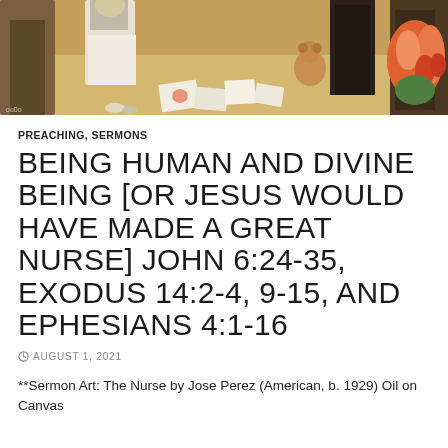[Figure (photo): Bottom portion of a painting showing figures standing, one wearing white, scattered papers or cards on the floor, a stuffed bear visible, and flowers on the right side. This is 'The Nurse' by Jose Perez.]
PREACHING, SERMONS
BEING HUMAN AND DIVINE BEING [OR JESUS WOULD HAVE MADE A GREAT NURSE] JOHN 6:24-35, EXODUS 14:2-4, 9-15, AND EPHESIANS 4:1-16
AUGUST 1, 2021
**Sermon Art: The Nurse by Jose Perez (American, b. 1929) Oil on Canvas